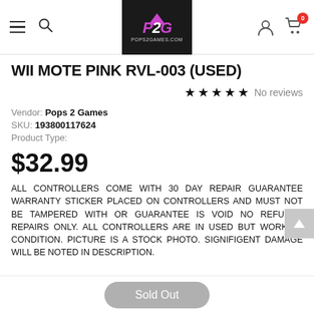P2G POPS2GAMES.COM
WII MOTE PINK RVL-003 (USED)
★★★★★ No reviews
Vendor: Pops 2 Games
SKU: 193800117624
Product Type:
$32.99
ALL CONTROLLERS COME WITH 30 DAY REPAIR GUARANTEE WARRANTY STICKER PLACED ON CONTROLLERS AND MUST NOT BE TAMPERED WITH OR GUARANTEE IS VOID NO REFUNDS REPAIRS ONLY. ALL CONTROLLERS ARE IN USED BUT WORKING CONDITION. PICTURE IS A STOCK PHOTO. SIGNIFIGENT DAMAGE WILL BE NOTED IN DESCRIPTION.
Sold Out